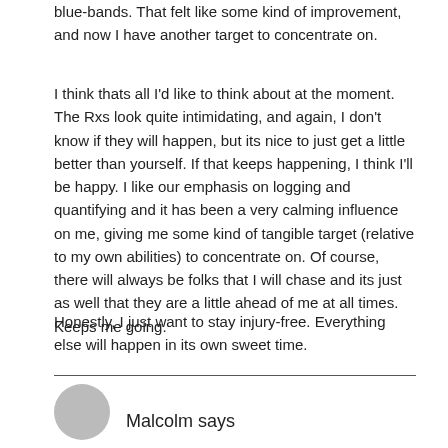blue-bands. That felt like some kind of improvement, and now I have another target to concentrate on.
I think thats all I'd like to think about at the moment. The Rxs look quite intimidating, and again, I don't know if they will happen, but its nice to just get a little better than yourself. If that keeps happening, I think I'll be happy. I like our emphasis on logging and quantifying and it has been a very calming influence on me, giving me some kind of tangible target (relative to my own abilities) to concentrate on. Of course, there will always be folks that I will chase and its just as well that they are a little ahead of me at all times. Keeps me going.
Honestly, I just want to stay injury-free. Everything else will happen in its own sweet time.
Malcolm says